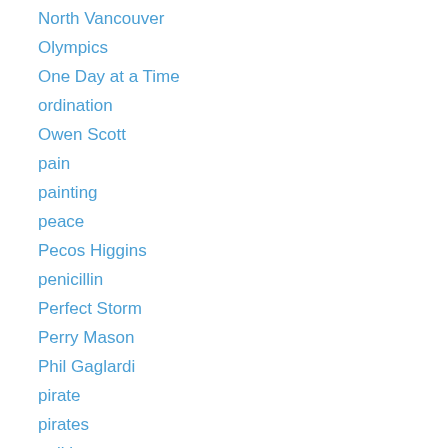North Vancouver
Olympics
One Day at a Time
ordination
Owen Scott
pain
painting
peace
Pecos Higgins
penicillin
Perfect Storm
Perry Mason
Phil Gaglardi
pirate
pirates
politics
prayer
Psalm 23
psalm 90
Queen Victoria